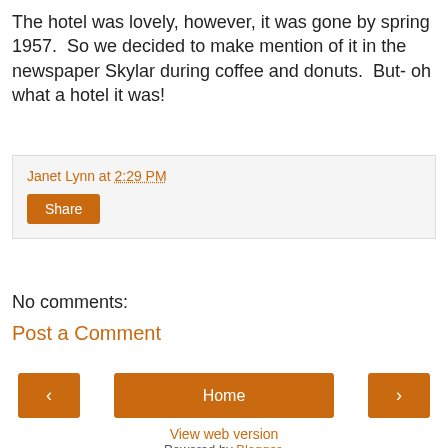The hotel was lovely, however, it was gone by spring 1957.  So we decided to make mention of it in the newspaper Skylar during coffee and donuts.  But- oh what a hotel it was!
Janet Lynn at 2:29 PM
Share
No comments:
Post a Comment
Home
View web version
Powered by Blogger.